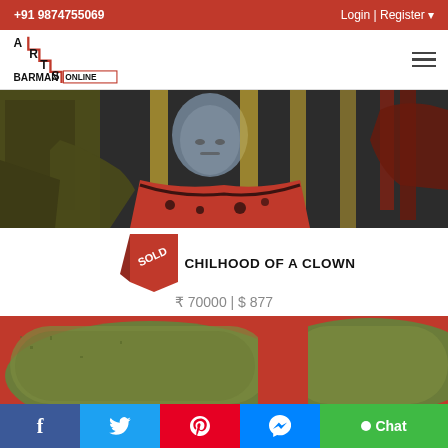+91 9874755069 | Login | Register
[Figure (logo): Arts Barman Online logo with staircase design in red and black]
[Figure (photo): Painting showing a figure with a blue/grey face wearing a red garment, dark expressionist style artwork]
CHILHOOD OF A CLOWN
₹ 70000 | $ 877
[Figure (photo): Painting showing olive/green textured shapes on a bright red background]
f  Twitter  Pinterest  Messenger  Chat